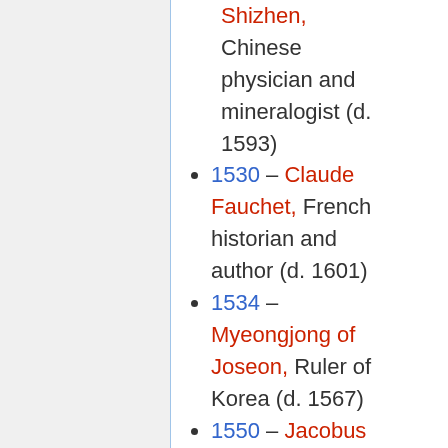Shizhen, Chinese physician and mineralogist (d. 1593)
1530 – Claude Fauchet, French historian and author (d. 1601)
1534 – Myeongjong of Joseon, Ruler of Korea (d. 1567)
1550 – Jacobus Gallus, Slovenian composer (d. 1591)
1569 – Thomas Richardson,